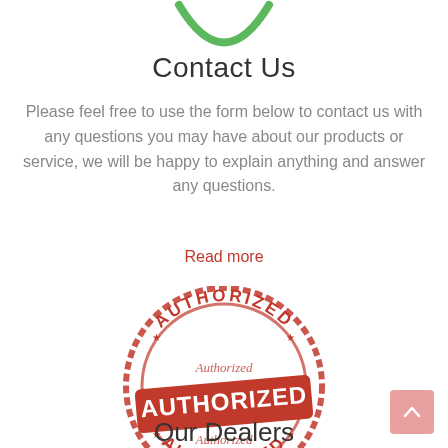[Figure (illustration): Green arc/smile logo shape at top of page]
Contact Us
Please feel free to use the form below to contact us with any questions you may have about our products or service, we will be happy to explain anything and answer any questions.
Read more
[Figure (illustration): Red authorized stamp/seal image with text AUTHORIZED in large letters and circular border reading AUTHORIZED, with Authorized script text]
Our Dealers